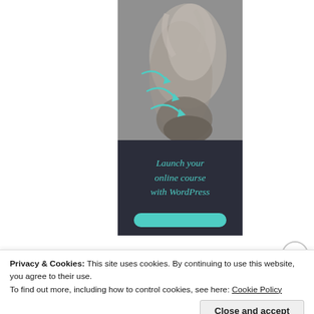[Figure (illustration): Advertisement banner showing ballet pointe shoes in grayscale at top, with teal arrows overlaid, and dark navy background at bottom with text 'Launch your online course with WordPress' in teal italic font, and a teal rounded button below]
Privacy & Cookies: This site uses cookies. By continuing to use this website, you agree to their use.
To find out more, including how to control cookies, see here: Cookie Policy
Close and accept